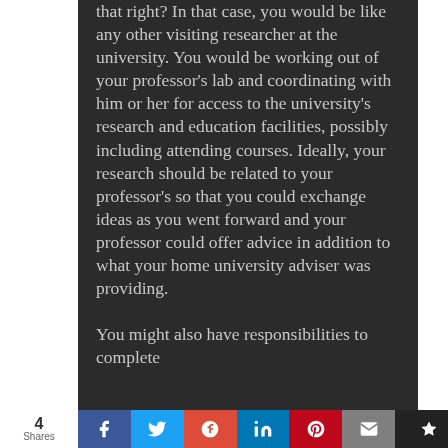that right? In that case, you would be like any other visiting researcher at the university. You would be working out of your professor's lab and coordinating with him or her for access to the university's research and education facilities, possibly including attending courses. Ideally, your research should be related to your professor's so that you could exchange ideas as you went forward and your professor could offer advice in addition to what your home university adviser was providing.
You might also have responsibilities to complete
4 Shares  [Facebook] [Twitter] [Google+] [LinkedIn] [Pinterest] [Email] [Flipboard]